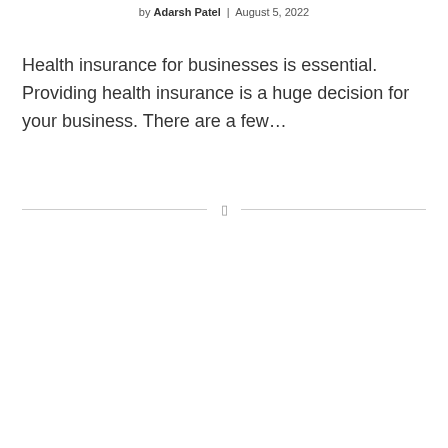by Adarsh Patel | August 5, 2022
Health insurance for businesses is essential. Providing health insurance is a huge decision for your business. There are a few…